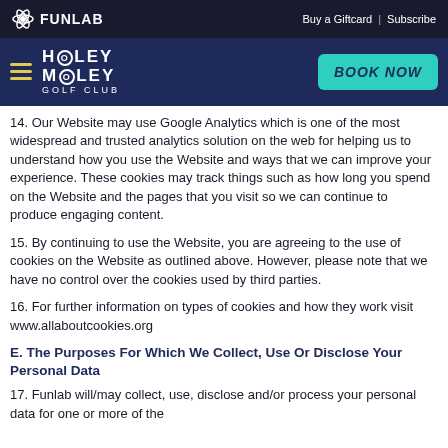FUNLAB  Buy a Giftcard | Subscribe
HOLEY MOLEY GOLF CLUB  BOOK NOW
14. Our Website may use Google Analytics which is one of the most widespread and trusted analytics solution on the web for helping us to understand how you use the Website and ways that we can improve your experience. These cookies may track things such as how long you spend on the Website and the pages that you visit so we can continue to produce engaging content.
15. By continuing to use the Website, you are agreeing to the use of cookies on the Website as outlined above. However, please note that we have no control over the cookies used by third parties.
16. For further information on types of cookies and how they work visit www.allaboutcookies.org
E. The Purposes For Which We Collect, Use Or Disclose Your Personal Data
17. Funlab will/may collect, use, disclose and/or process your personal data for one or more of the